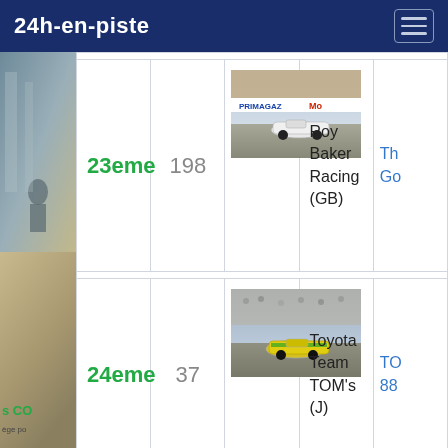24h-en-piste
| Rank | Num | Photo | Team | Link |
| --- | --- | --- | --- | --- |
| 23eme | 198 | [car photo - race car in pit lane, Primagaz banner] | Roy Baker Racing (GB) | Th... Go... |
| 24eme | 37 | [car photo - yellow/green race car on track] | Toyota Team TOM's (J) | TO... 88... |